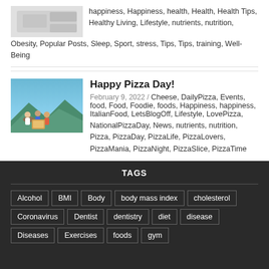happiness, Happiness, health, Health, Health Tips, Healthy Living, Lifestyle, nutrients, nutrition, Obesity, Popular Posts, Sleep, Sport, stress, Tips, Tips, training, Well-Being
[Figure (photo): Small thumbnail photo showing a person or health-related image]
Happy Pizza Day!
February 9, 2022 / Cheese, DailyPizza, Events, food, Food, Foodie, foods, Happiness, happiness, ItalianFood, LetsBlogOff, Lifestyle, LovePizza, NationalPizzaDay, News, nutrients, nutrition, Pizza, PizzaDay, PizzaLife, PizzaLovers, PizzaMania, PizzaNight, PizzaSlice, PizzaTime
[Figure (photo): Photo of people enjoying pizza outdoors with scenic background]
TAGS
Alcohol
BMI
Body
body mass index
cholesterol
Coronavirus
Dentist
dentistry
diet
disease
Diseases
Exercises
foods
gym